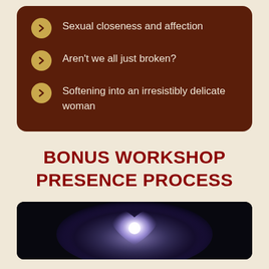Sexual closeness and affection
Aren't we all just broken?
Softening into an irresistibly delicate woman
BONUS WORKSHOP PRESENCE PROCESS
[Figure (photo): Dark background with a glowing white heart shape emitting purple-blue light]